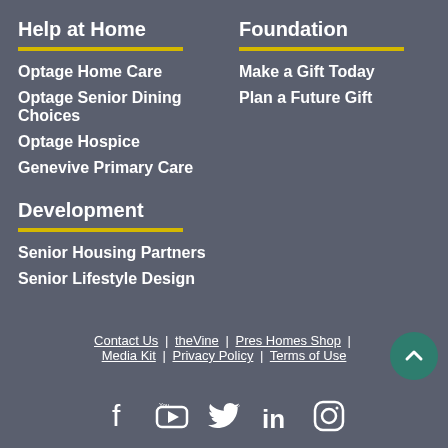Help at Home
Optage Home Care
Optage Senior Dining Choices
Optage Hospice
Genevive Primary Care
Foundation
Make a Gift Today
Plan a Future Gift
Development
Senior Housing Partners
Senior Lifestyle Design
Contact Us | theVine | Pres Homes Shop | Media Kit | Privacy Policy | Terms of Use